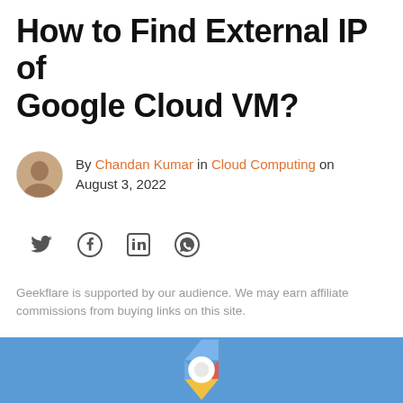How to Find External IP of Google Cloud VM?
By Chandan Kumar in Cloud Computing on August 3, 2022
[Figure (illustration): Social share icons: Twitter, Facebook, LinkedIn, WhatsApp]
Geekflare is supported by our audience. We may earn affiliate commissions from buying links on this site.
[Figure (photo): Hero image with blue background featuring the Google Cloud hexagonal logo]